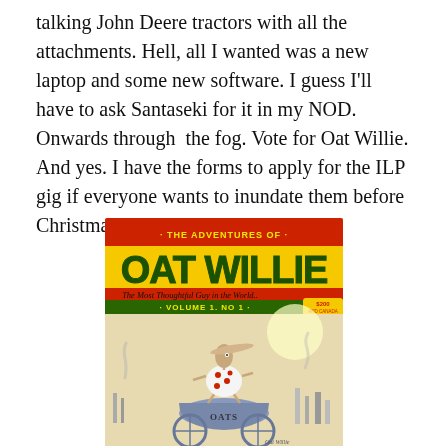talking John Deere tractors with all the attachments. Hell, all I wanted was a new laptop and some new software. I guess I'll have to ask Santaseki for it in my NOD. Onwards through the fog. Vote for Oat Willie. And yes. I have the forms to apply for the ILP gig if everyone wants to inundate them before Christmas.
[Figure (illustration): Comic book cover for 'The Adventures of Oat Willie - The Most Thoughtful Guy in the World, Volume 1, No. 1' priced at $2.00. Features a cartoon character standing in a bucket labeled OATS on a wheeled cart, with an industrial cityscape in the background. The cover has a red banner at the top with yellow lettering for 'Oat Willie'.]